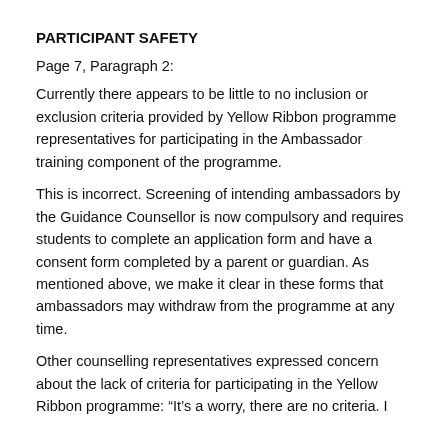PARTICIPANT SAFETY
Page 7, Paragraph 2:
Currently there appears to be little to no inclusion or exclusion criteria provided by Yellow Ribbon programme representatives for participating in the Ambassador training component of the programme.
This is incorrect. Screening of intending ambassadors by the Guidance Counsellor is now compulsory and requires students to complete an application form and have a consent form completed by a parent or guardian. As mentioned above, we make it clear in these forms that ambassadors may withdraw from the programme at any time.
Other counselling representatives expressed concern about the lack of criteria for participating in the Yellow Ribbon programme: “It’s a worry, there are no criteria. I